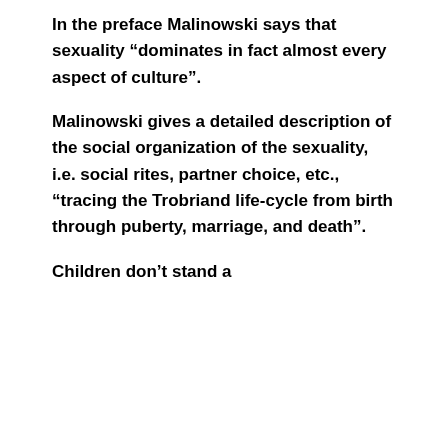In the preface Malinowski says that sexuality “dominates in fact almost every aspect of culture”.
Malinowski gives a detailed description of the social organization of the sexuality, i.e. social rites, partner choice, etc., “tracing the Trobriand life-cycle from birth through puberty, marriage, and death”.
Children don’t stand a